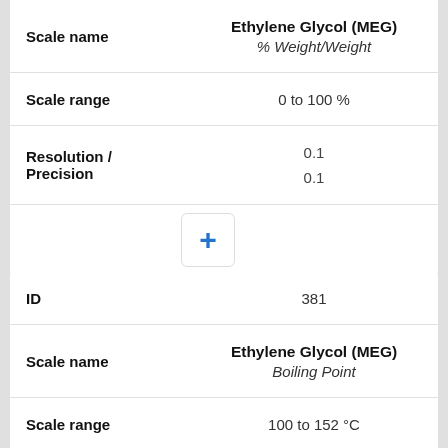| Scale name | Ethylene Glycol (MEG)
% Weight/Weight |
| --- | --- |
| Scale range | 0 to 100 % |
| Resolution / Precision | 0.1
0.1 |
|  | + |
| ID | 381 |
| --- | --- |
| Scale name | Ethylene Glycol (MEG)
Boiling Point |
| Scale range | 100 to 152 °C |
| Resolution / Precision | 1
1 |